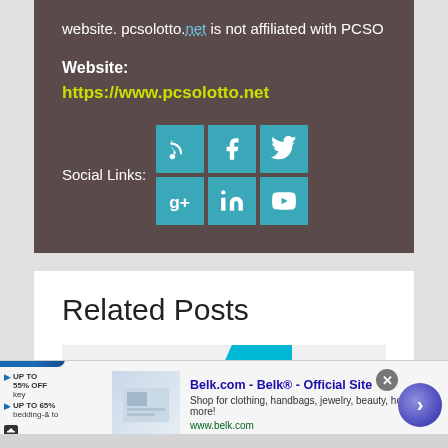website. pcsolotto.net is not affiliated with PCSO
Website:
https://www.pcsolotto.net
[Figure (infographic): Social Links icons: RSS, Facebook, Twitter, Google+, LinkedIn, YouTube in teal square buttons]
Related Posts
[Figure (screenshot): Ad banner: Infolinks label, Belk.com - Belk® - Official Site ad with image, description, and navigation button]